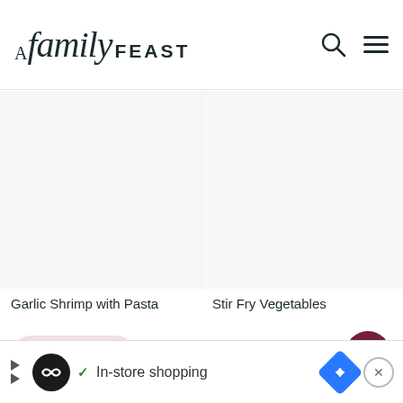A Family Feast
[Figure (photo): Garlic Shrimp with Pasta - food photo placeholder (blank/white)]
[Figure (photo): Stir Fry Vegetables - food photo placeholder (blank/white)]
Garlic Shrimp with Pasta
Stir Fry Vegetables
MORE ...
[Figure (infographic): Advertisement bar: In-store shopping with logo, checkmark, navigation arrow icon, and close button]